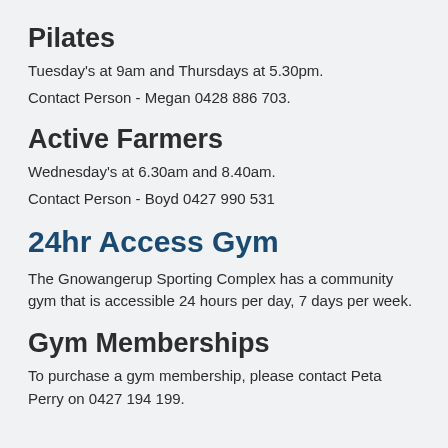Pilates
Tuesday's at 9am and Thursdays at 5.30pm.
Contact Person - Megan 0428 886 703.
Active Farmers
Wednesday's at 6.30am and 8.40am.
Contact Person - Boyd 0427 990 531
24hr Access Gym
The Gnowangerup Sporting Complex has a community gym that is accessible 24 hours per day, 7 days per week.
Gym Memberships
To purchase a gym membership, please contact Peta Perry on 0427 194 199.